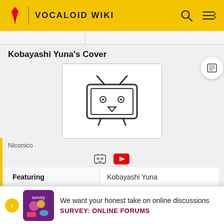VOCALOID WIKI
Kobayashi Yuna's Cover
[Figure (illustration): Niconico-style TV mascot icon placeholder for video thumbnail]
Niconico
[Figure (other): Platform icons: Niconico icon and YouTube red play button icon]
| Featuring | Producers |
| --- | --- |
| Kobayashi Yuna | Sheer Music |
We want your honest take on online discussions
SURVEY: ONLINE FORUMS